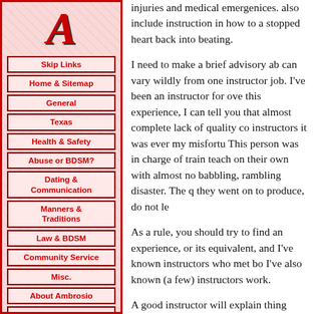[Figure (logo): Stylized red italic letter A logo]
Skip Links
Home & Sitemap
General
Texas
Health & Safety
Abuse or BDSM?
Dating & Communication
Manners & Traditions
Law & BDSM
Community Service
Misc.
About Ambrosio
Email Ambrosio
injuries and medical emergenices. also include instruction in how to a stopped heart back into beating.
I need to make a brief advisory ab can vary wildly from one instructor job. I've been an instructor for ove this experience, I can tell you that almost complete lack of quality co instructors it was ever my misfortu This person was in charge of train teach on their own with almost no babbling, rambling disaster. The q they went on to produce, do not le
As a rule, you should try to find an experience, or its equivalent, and I've known instructors who met bo I've also known (a few) instructors work.
A good instructor will explain thing don't know the answer to a questi manner, and after you have finishe more knowledgeable, and more c